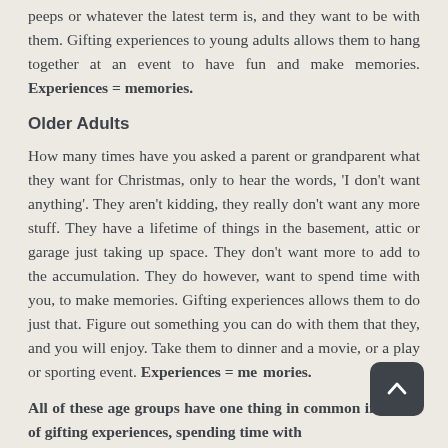peeps or whatever the latest term is, and they want to be with them.  Gifting experiences to young adults allows them to hang together at an event to have fun and make memories.  Experiences = memories.
Older Adults
How many times have you asked a parent or grandparent what they want for Christmas, only to hear the words, 'I don't want anything'. They aren't kidding, they really don't want any more stuff.  They have a lifetime of things in the basement, attic or garage just taking up space.  They don't want more to add to the accumulation.  They do however, want to spend time with you, to make memories. Gifting experiences allows them to do just that.  Figure out something you can do with them that they, and you will enjoy.  Take them to dinner and a movie, or a play or sporting event. Experiences = memories.
All of these age groups have one thing in common in terms of gifting experiences, spending time with